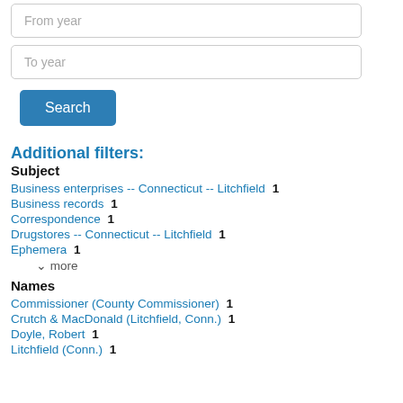From year
To year
Search
Additional filters:
Subject
Business enterprises -- Connecticut -- Litchfield  1
Business records  1
Correspondence  1
Drugstores -- Connecticut -- Litchfield  1
Ephemera  1
v more
Names
Commissioner (County Commissioner)  1
Crutch & MacDonald (Litchfield, Conn.)  1
Doyle, Robert  1
Litchfield (Conn.)  1